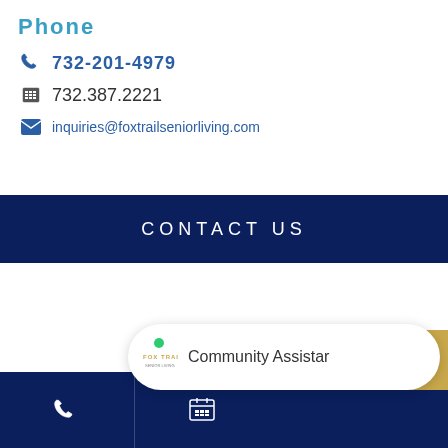Phone
732-201-4979
732.387.2221
inquiries@foxtrailseniorliving.com
CONTACT US
[Figure (screenshot): Chat popup widget showing Fox Trail logo with green online dot and text 'Community Assistar']
[Figure (screenshot): Bottom navigation bar with phone icon and calendar/schedule icon on dark navy background]